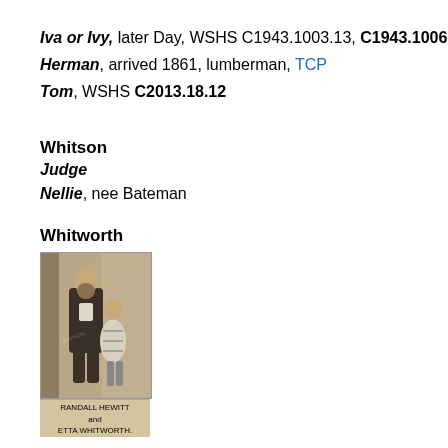Iva or Ivy, later Day, WSHS C1943.1003.13, C1943.1006
Herman, arrived 1861, lumberman, TCP
Tom, WSHS C2013.18.12
Whitson
Judge
Nellie, nee Bateman
Whitworth
[Figure (photo): Vintage sepia photograph of a bearded man standing beside a young girl in a dress. Caption reads: RANDALL HEWITT and ETTA WHITWORTH.]
RANDALL HEWITT and ETTA WHITWORTH.